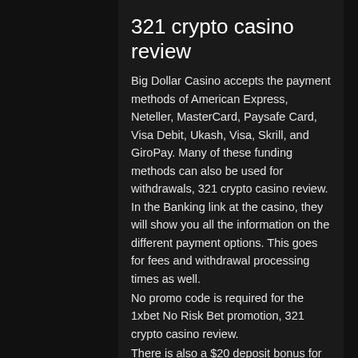321 crypto casino review
Big Dollar Casino accepts the payment methods of American Express, Neteller, MasterCard, Paysafe Card, Visa Debit, Ukash, Visa, Skrill, and GiroPay. Many of these funding methods can also be used for withdrawals, 321 crypto casino review. In the Banking link at the casino, they will show you all the information on the different payment options. This goes for fees and withdrawal processing times as well.
No promo code is required for the 1xbet No Risk Bet promotion, 321 crypto casino review.
There is also a $20 deposit bonus for high rollers. This bonus is reserved for regular players who make the largest payments at online casinos, 321 crypto casino review. Some of them can also qualify for the VIP